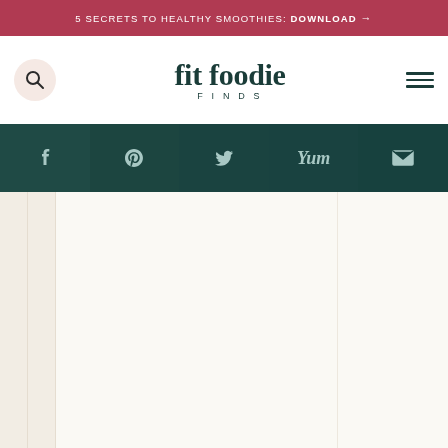5 SECRETS TO HEALTHY SMOOTHIES: DOWNLOAD →
[Figure (logo): Fit Foodie Finds logo with search icon and hamburger menu]
[Figure (infographic): Social media sharing bar with Facebook, Pinterest, Twitter, Yum, and Email icons on dark teal background]